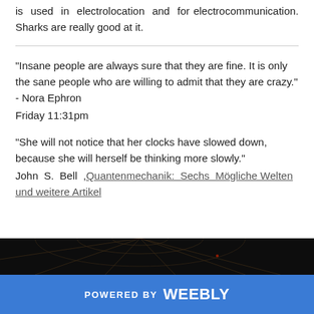is used in electrolocation and for electrocommunication. Sharks are really good at it.
"Insane people are always sure that they are fine. It is only the sane people who are willing to admit that they are crazy." - Nora Ephron
Friday 11:31pm
“She will not notice that her clocks have slowed down, because she will herself be thinking more slowly.” John S. Bell , Quantenmechanik: Sechs Mögliche Welten und weitere Artikel
[Figure (photo): Dark photo showing web-like lines on dark background, partially visible at bottom of page]
POWERED BY weebly